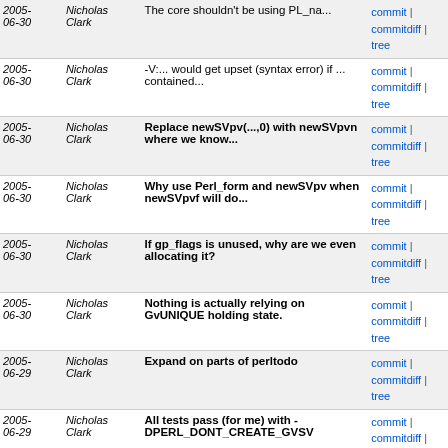| Date | Author | Message | Links |
| --- | --- | --- | --- |
| 2005-06-30 | Nicholas Clark | The core shouldn't be using PL_na... | commit | commitdiff | tree |
| 2005-06-30 | Nicholas Clark | -V:... would get upset (syntax error) if ... contained... | commit | commitdiff | tree |
| 2005-06-30 | Nicholas Clark | Replace newSVpv(...,0) with newSVpvn where we know... | commit | commitdiff | tree |
| 2005-06-30 | Nicholas Clark | Why use Perl_form and newSVpv when newSVpvf will do... | commit | commitdiff | tree |
| 2005-06-30 | Nicholas Clark | If gp_flags is unused, why are we even allocating it? | commit | commitdiff | tree |
| 2005-06-30 | Nicholas Clark | Nothing is actually relying on GvUNIQUE holding state. | commit | commitdiff | tree |
| 2005-06-29 | Nicholas Clark | Expand on parts of perltodo | commit | commitdiff | tree |
| 2005-06-29 | Nicholas Clark | All tests pass (for me) with -DPERL_DONT_CREATE_GVSV | commit | commitdiff | tree |
| 2005-06-29 | Nicholas Clark | Make warnings.t pass with -DPERL_DONT_CREATE_GVSV | commit | commitdiff | tree |
| 2005-06-29 | Nicholas Clark | Fixes to -DPERL_DONT_CREATE_GVSV to make more tests... | commit | commitdiff | tree |
| 2005-06-29 | Nicholas Clark | First stab at not automatically creating an unused... | commit | commitdiff | tree |
| 2005-06-28 | Nicholas Clark | Convert strcpy to memcpy where we already know the... | commit | commitdiff | tree |
| 2005-06-28 | Dominic Dunlop | Re: Hints for 64bitall (PPC!) Darwin perl | commit | commitdiff | tree |